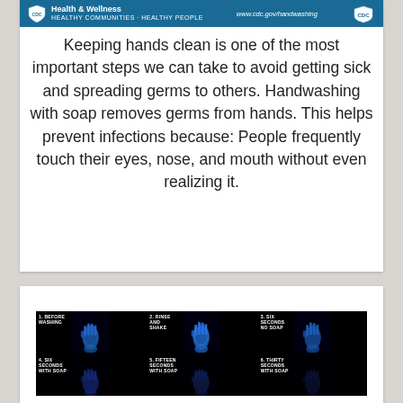[Figure (infographic): CDC Health and Wellness banner with shield logo on left and CDC logo on right, www.cdc.gov/handwashing URL shown]
Keeping hands clean is one of the most important steps we can take to avoid getting sick and spreading germs to others. Handwashing with soap removes germs from hands. This helps prevent infections because: People frequently touch their eyes, nose, and mouth without even realizing it.
[Figure (photo): Six-panel UV light handwashing demonstration showing hands before washing, rinse and shake, six seconds no soap, six seconds with soap, fifteen seconds with soap, and thirty seconds with soap. Hands appear glowing blue-purple under UV light against black background.]